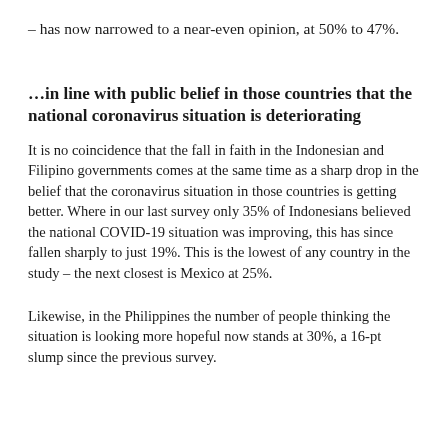– has now narrowed to a near-even opinion, at 50% to 47%.
…in line with public belief in those countries that the national coronavirus situation is deteriorating
It is no coincidence that the fall in faith in the Indonesian and Filipino governments comes at the same time as a sharp drop in the belief that the coronavirus situation in those countries is getting better. Where in our last survey only 35% of Indonesians believed the national COVID-19 situation was improving, this has since fallen sharply to just 19%. This is the lowest of any country in the study – the next closest is Mexico at 25%.
Likewise, in the Philippines the number of people thinking the situation is looking more hopeful now stands at 30%, a 16-pt slump since the previous survey.